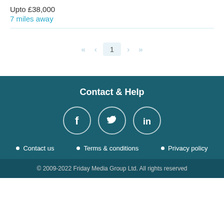Upto £38,000
7 miles away
« < 1 > »
Contact & Help
[Figure (other): Social media icons: Facebook, Twitter, LinkedIn in circles]
Contact us
Terms & conditions
Privacy policy
© 2009-2022 Friday Media Group Ltd. All rights reserved